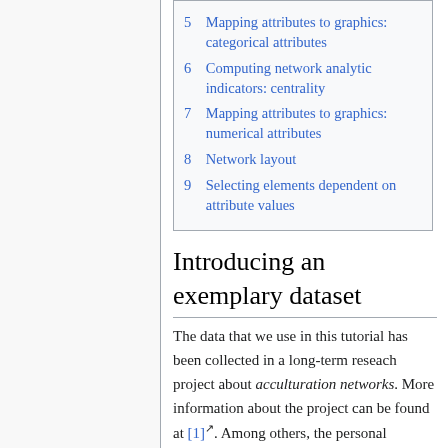5 Mapping attributes to graphics: categorical attributes
6 Computing network analytic indicators: centrality
7 Mapping attributes to graphics: numerical attributes
8 Network layout
9 Selecting elements dependent on attribute values
Introducing an exemplary dataset
The data that we use in this tutorial has been collected in a long-term reseach project about acculturation networks. More information about the project can be found at [1]. Among others, the personal networks of now more than 1,000 immigrants have been collected